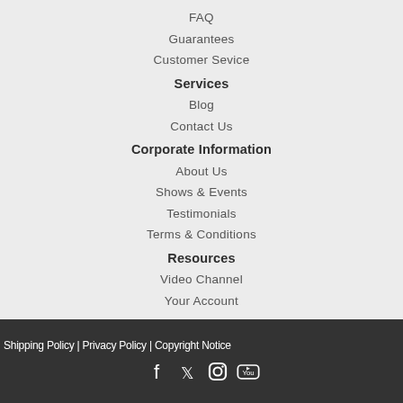FAQ
Guarantees
Customer Sevice
Services
Blog
Contact Us
Corporate Information
About Us
Shows & Events
Testimonials
Terms & Conditions
Resources
Video Channel
Your Account
Shipping Policy | Privacy Policy | Copyright Notice